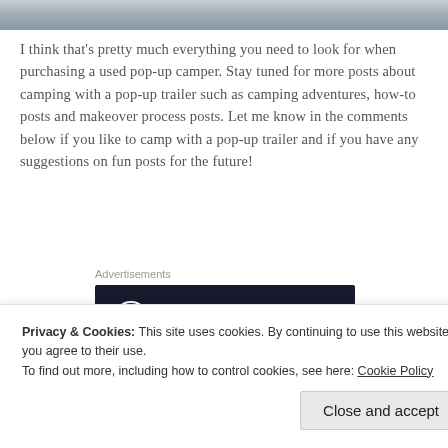[Figure (photo): Top photo strip showing a partial image of a camping or outdoor scene]
I think that's pretty much everything you need to look for when purchasing a used pop-up camper. Stay tuned for more posts about camping with a pop-up trailer such as camping adventures, how-to posts and makeover process posts. Let me know in the comments below if you like to camp with a pop-up trailer and if you have any suggestions on fun posts for the future!
Advertisements
[Figure (screenshot): Sensei advertisement banner with dark background showing bonsai tree logo and text 'Launch your online course with WordPress']
Privacy & Cookies: This site uses cookies. By continuing to use this website, you agree to their use.
To find out more, including how to control cookies, see here: Cookie Policy
Close and accept